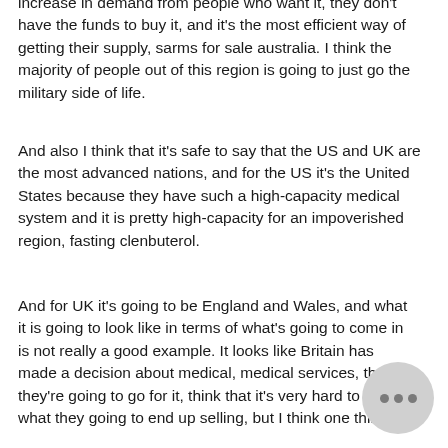increase in demand from people who want it, they don't have the funds to buy it, and it's the most efficient way of getting their supply, sarms for sale australia. I think the majority of people out of this region is going to just go the military side of life.
And also I think that it's safe to say that the US and UK are the most advanced nations, and for the US it's the United States because they have such a high-capacity medical system and it is pretty high-capacity for an impoverished region, fasting clenbuterol.
And for UK it's going to be England and Wales, and what it is going to look like in terms of what's going to come in is not really a good example. It looks like Britain has made a decision about medical, medical services, that they're going to go for it, think that it's very hard to tell what they going to end up selling, but I think one thing